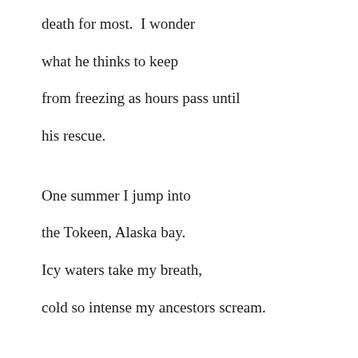death for most.  I wonder
what he thinks to keep
from freezing as hours pass until
his rescue.
One summer I jump into
the Tokeen, Alaska bay.
Icy waters take my breath,
cold so intense my ancestors scream.
I imagine Japanese adventurers
shuffling straw slippers over snowy trails